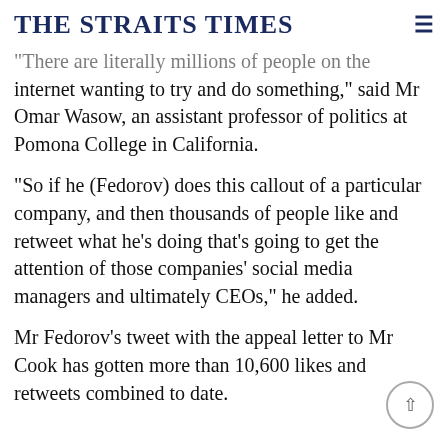THE STRAITS TIMES
"There are literally millions of people on the internet wanting to try and do something," said Mr Omar Wasow, an assistant professor of politics at Pomona College in California.
"So if he (Fedorov) does this callout of a particular company, and then thousands of people like and retweet what he's doing that's going to get the attention of those companies' social media managers and ultimately CEOs," he added.
Mr Fedorov's tweet with the appeal letter to Mr Cook has gotten more than 10,600 likes and retweets combined to date.
The tweet to Tesla boss Elon Musk asking for Starlink satellite internet service got over 200,000